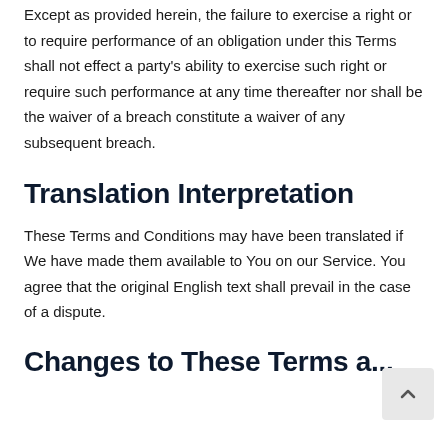Except as provided herein, the failure to exercise a right or to require performance of an obligation under this Terms shall not effect a party's ability to exercise such right or require such performance at any time thereafter nor shall be the waiver of a breach constitute a waiver of any subsequent breach.
Translation Interpretation
These Terms and Conditions may have been translated if We have made them available to You on our Service. You agree that the original English text shall prevail in the case of a dispute.
Changes to These Terms a...